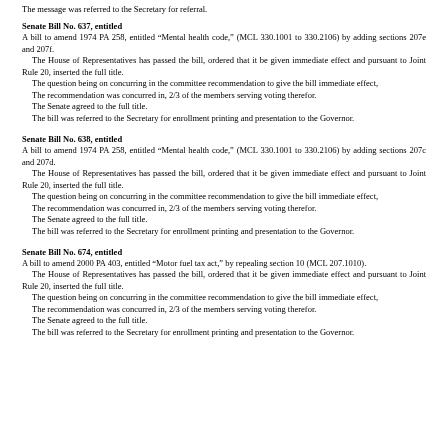The message was referred to the Secretary for referral.
Senate Bill No. 637, entitled
A bill to amend 1974 PA 258, entitled “Mental health code,” (MCL 330.1001 to 330.2106) by adding sections 207e and 207f.
 The House of Representatives has passed the bill, ordered that it be given immediate effect and pursuant to Joint Rule 20, inserted the full title.
 The question being on concurring in the committee recommendation to give the bill immediate effect,
 The recommendation was concurred in, 2/3 of the members serving voting therefor.
 The Senate agreed to the full title.
 The bill was referred to the Secretary for enrollment printing and presentation to the Governor.
Senate Bill No. 638, entitled
A bill to amend 1974 PA 258, entitled “Mental health code,” (MCL 330.1001 to 330.2106) by adding sections 207c and 207d.
 The House of Representatives has passed the bill, ordered that it be given immediate effect and pursuant to Joint Rule 20, inserted the full title.
 The question being on concurring in the committee recommendation to give the bill immediate effect,
 The recommendation was concurred in, 2/3 of the members serving voting therefor.
 The Senate agreed to the full title.
 The bill was referred to the Secretary for enrollment printing and presentation to the Governor.
Senate Bill No. 674, entitled
A bill to amend 2000 PA 403, entitled “Motor fuel tax act,” by repealing section 10 (MCL 207.1010).
 The House of Representatives has passed the bill, ordered that it be given immediate effect and pursuant to Joint Rule 20, inserted the full title.
 The question being on concurring in the committee recommendation to give the bill immediate effect,
 The recommendation was concurred in, 2/3 of the members serving voting therefor.
 The Senate agreed to the full title.
 The bill was referred to the Secretary for enrollment printing and presentation to the Governor.